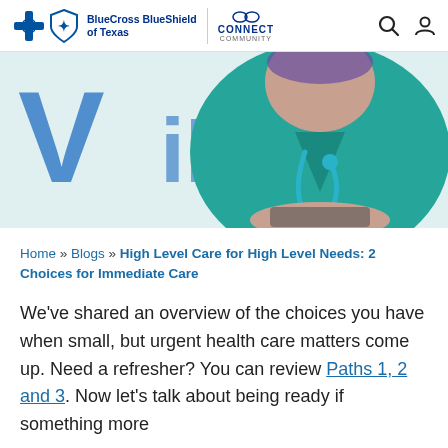BlueCross BlueShield of Texas | CONNECT COMMUNITY
[Figure (photo): A healthcare professional in teal scrubs with a stethoscope, standing in front of a blurred background with blue letters]
Home » Blogs » High Level Care for High Level Needs: 2 Choices for Immediate Care
We’ve shared an overview of the choices you have when small, but urgent health care matters come up. Need a refresher? You can review Paths 1, 2 and 3. Now let’s talk about being ready if something more